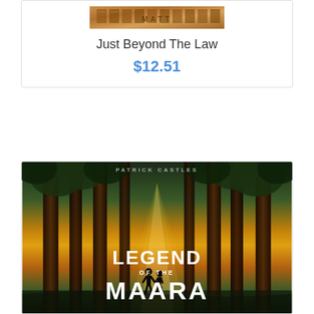[Figure (photo): Book cover for 'Just Beyond The Law' showing a textured brown/sandy design with block letters]
Just Beyond The Law
$12.51
[Figure (photo): Book cover for 'Legend of the Maara' by Patrick Castles, showing two silhouetted figures walking through a sunlit forest of tall trees, with golden light streaming between the trunks]